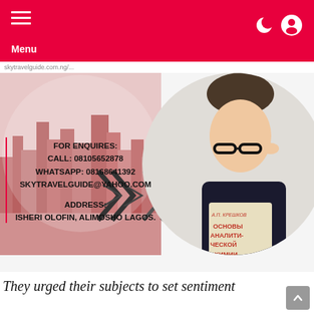Menu
FOR ENQUIRES:
CALL: 08105652878
WHATSAPP: 08168641392
SKYTRAVELGUIDE@YAHOO.COM

ADDRESS:
ISHERI OLOFIN, ALIMOSHO LAGOS.
[Figure (photo): Left: cityscape photo with pinkish/rose tint and arrow/chevron graphics. Right: woman holding a book (Основы аналитической химии) looking over eyeglasses.]
They urged their subjects to set sentiment